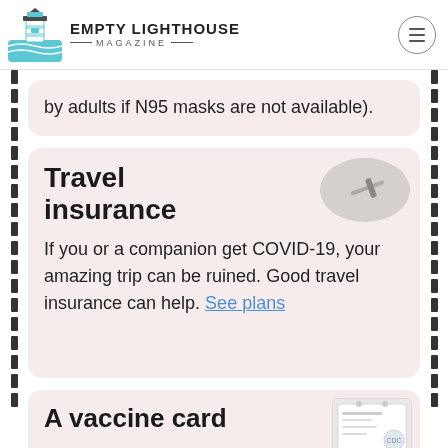EMPTY LIGHTHOUSE MAGAZINE
by adults if N95 masks are not available).
Travel insurance
If you or a companion get COVID-19, your amazing trip can be ruined. Good travel insurance can help. See plans
A vaccine card